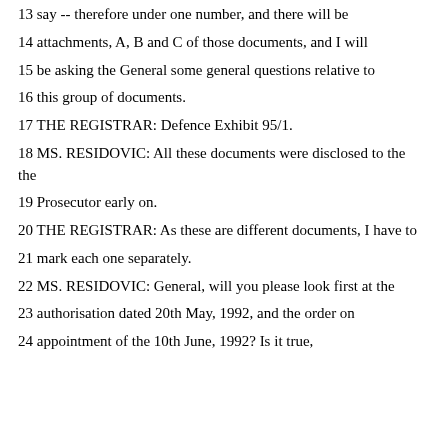13 say -- therefore under one number, and there will be
14 attachments, A, B and C of those documents, and I will
15 be asking the General some general questions relative to
16 this group of documents.
17 THE REGISTRAR: Defence Exhibit 95/1.
18 MS. RESIDOVIC: All these documents were disclosed to the
19 Prosecutor early on.
20 THE REGISTRAR: As these are different documents, I have to
21 mark each one separately.
22 MS. RESIDOVIC: General, will you please look first at the
23 authorisation dated 20th May, 1992, and the order on
24 appointment of the 10th June, 1992? Is it true,